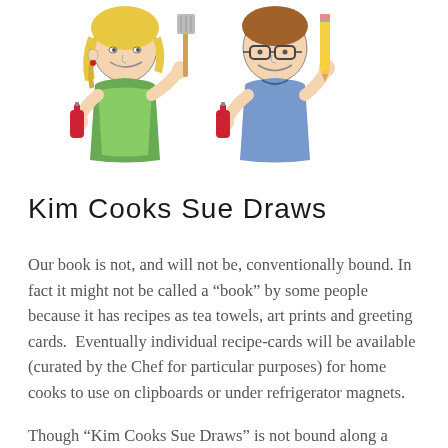[Figure (illustration): Hand-drawn colored pencil illustration of two cartoon people: a woman with blonde hair wearing a green apron holding a spatula and a red bottle, and a man with brown hair wearing glasses and a blue t-shirt holding a yellow pencil and a red bottle. They are facing each other and smiling.]
Kim Cooks Sue Draws
Our book is not, and will not be, conventionally bound. In fact it might not be called a “book” by some people because it has recipes as tea towels, art prints and greeting cards.  Eventually individual recipe-cards will be available (curated by the Chef for particular purposes) for home cooks to use on clipboards or under refrigerator magnets.
Though “Kim Cooks Sue Draws” is not bound along a spine it is a collection of related thoughts connected